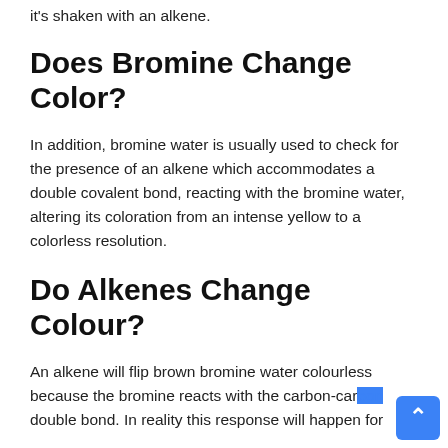it's shaken with an alkene.
Does Bromine Change Color?
In addition, bromine water is usually used to check for the presence of an alkene which accommodates a double covalent bond, reacting with the bromine water, altering its coloration from an intense yellow to a colorless resolution.
Do Alkenes Change Colour?
An alkene will flip brown bromine water colourless because the bromine reacts with the carbon-carbon double bond. In reality this response will happen for